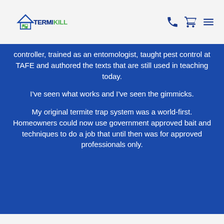[Figure (logo): TermiKill logo with house icon and green/blue text]
controller, trained as an entomologist, taught pest control at TAFE and authored the texts that are still used in teaching today.
I've seen what works and I've seen the gimmicks.
My original termite trap system was a world-first. Homeowners could now use government approved bait and techniques to do a job that until then was for approved professionals only.